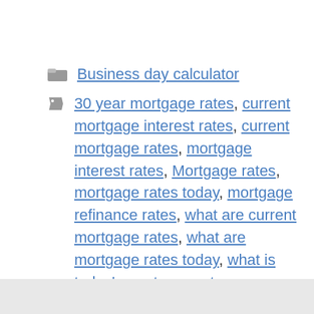Business day calculator
30 year mortgage rates, current mortgage interest rates, current mortgage rates, mortgage interest rates, Mortgage rates, mortgage rates today, mortgage refinance rates, what are current mortgage rates, what are mortgage rates today, what is today's mortgage rates
Memory cards boost phone storage — if you know how to install them
How to Give Bonds as a Gift